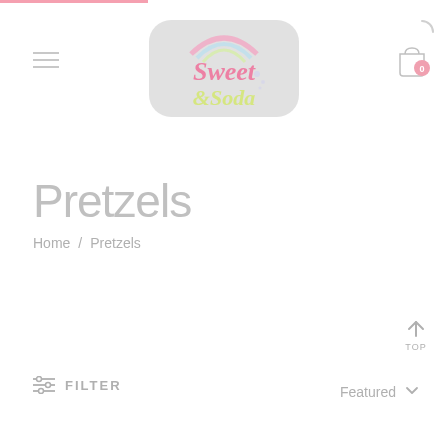[Figure (logo): Sweet & Soda candy shop logo — rounded rectangle badge with pastel rainbow arc, pink and yellow bubble lettering on grey background]
Pretzels
Home / Pretzels
FILTER
Featured